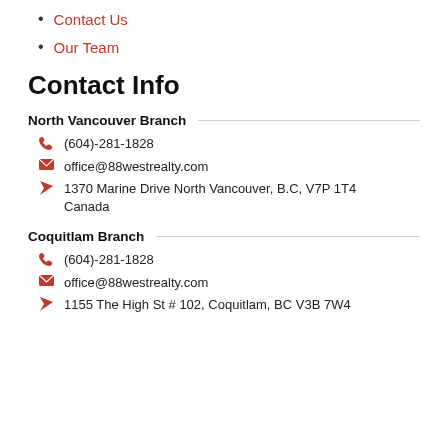Contact Us
Our Team
Contact Info
North Vancouver Branch
(604)-281-1828
office@88westrealty.com
1370 Marine Drive North Vancouver, B.C, V7P 1T4 Canada
Coquitlam Branch
(604)-281-1828
office@88westrealty.com
1155 The High St # 102, Coquitlam, BC V3B 7W4